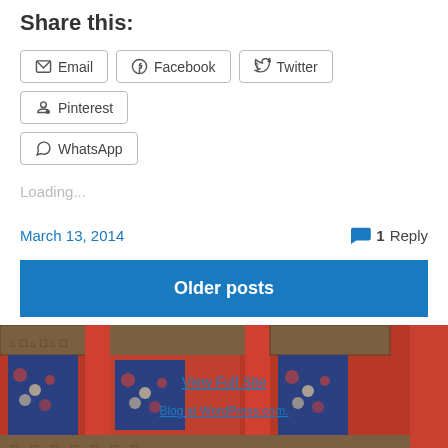Share this:
Email  Facebook  Twitter  Pinterest  WhatsApp
Loading...
March 13, 2014
1 Reply
Older posts
[Figure (photo): Decorative carved and painted wooden panels with red, blue and gold designs, repeated side by side. Overlay text: 'View Full Site' and 'Blog at WordPress.com.']